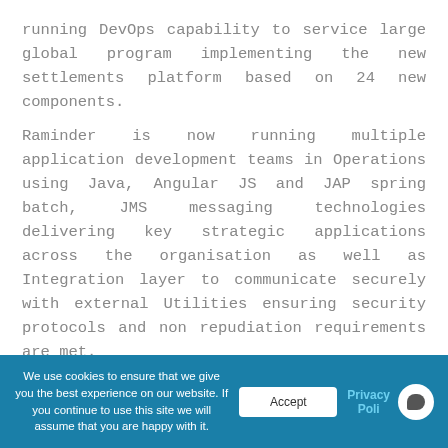running DevOps capability to service large global program implementing the new settlements platform based on 24 new components.
Raminder is now running multiple application development teams in Operations using Java, Angular JS and JAP spring batch, JMS messaging technologies delivering key strategic applications across the organisation as well as Integration layer to communicate securely with external Utilities ensuring security protocols and non repudiation requirements are met.
We use cookies to ensure that we give you the best experience on our website. If you continue to use this site we will assume that you are happy with it.